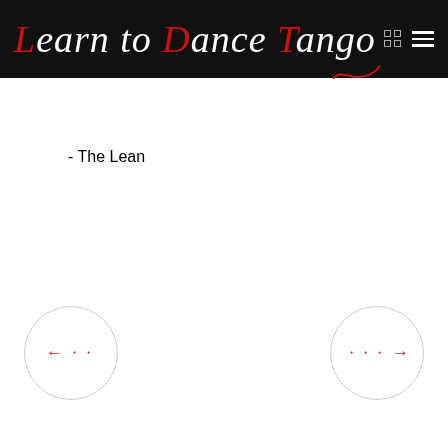Learn to Dance Tango
- The Lean